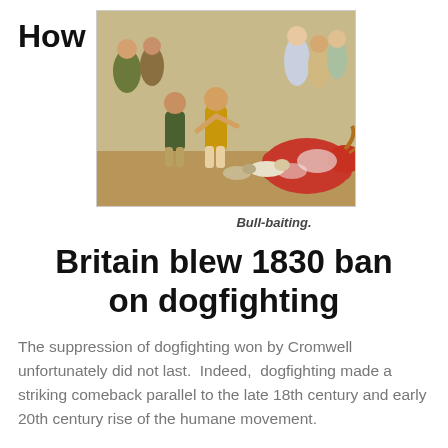How
[Figure (illustration): Historical painting of bull-baiting, showing men and dogs attacking a bull, with a crowd watching.]
Bull-baiting.
Britain blew 1830 ban on dogfighting
The suppression of dogfighting won by Cromwell unfortunately did not last.  Indeed,  dogfighting made a striking comeback parallel to the late 18th century and early 20th century rise of the humane movement.